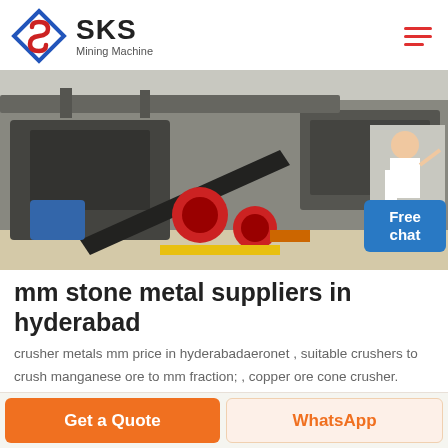SKS Mining Machine
[Figure (photo): Industrial mining crushing machine equipment on factory floor, large heavy machinery with conveyor and crusher components visible]
mm stone metal suppliers in hyderabad
crusher metals mm price in hyderabadaeronet , suitable crushers to crush manganese ore to mm fraction; , copper ore cone crusher.
Get a Quote
WhatsApp